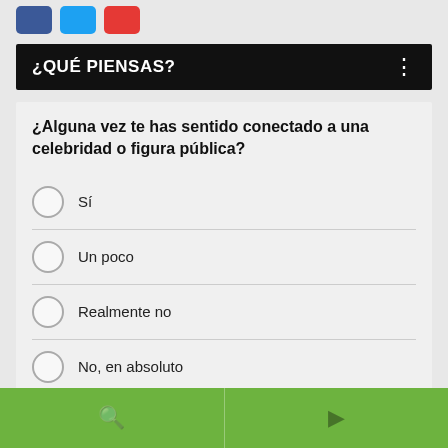[Figure (other): Social media share buttons: Facebook (blue), Twitter (blue), Email (red)]
¿QUÉ PIENSAS?
¿Alguna vez te has sentido conectado a una celebridad o figura pública?
Sí
Un poco
Realmente no
No, en absoluto
Otra / Sin opinión
SIGUIENTE *
Search and navigation footer icons